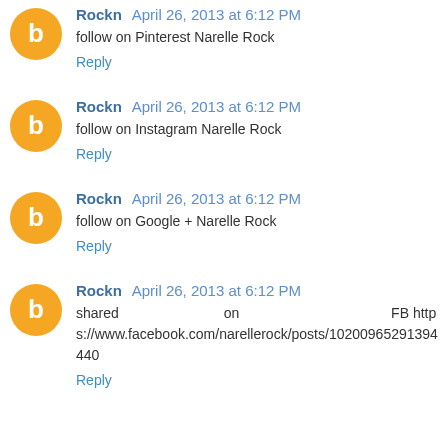Rockn April 26, 2013 at 6:12 PM
follow on Pinterest Narelle Rock
Reply
Rockn April 26, 2013 at 6:12 PM
follow on Instagram Narelle Rock
Reply
Rockn April 26, 2013 at 6:12 PM
follow on Google + Narelle Rock
Reply
Rockn April 26, 2013 at 6:12 PM
shared on FB https://www.facebook.com/narellerock/posts/10200965291394440
Reply